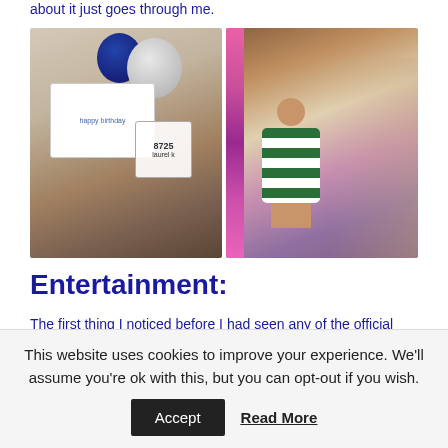about it just goes through me.
[Figure (photo): Two photos side by side: left shows a cruise ship cabin door with a Happy Birthday sign and balloons; right shows a woman in a green and white striped dress standing on a cruise ship staircase with pink lighting.]
Entertainment:
The first thing I noticed before I had seen any of the official entertainment, was that Princess had taken to playing up to
This website uses cookies to improve your experience. We'll assume you're ok with this, but you can opt-out if you wish.